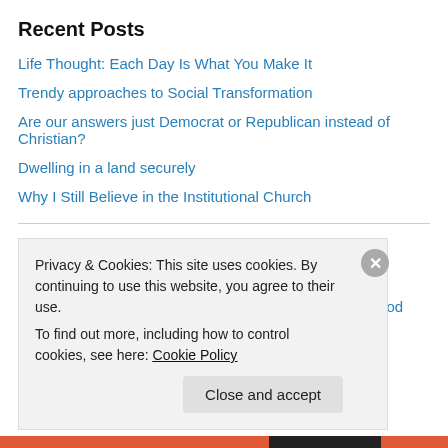Recent Posts
Life Thought: Each Day Is What You Make It
Trendy approaches to Social Transformation
Are our answers just Democrat or Republican instead of Christian?
Dwelling in a land securely
Why I Still Believe in the Institutional Church
Recent Comments
Rev. Todd A. Risser on Can the Creator God really not…
Privacy & Cookies: This site uses cookies. By continuing to use this website, you agree to their use.
To find out more, including how to control cookies, see here: Cookie Policy